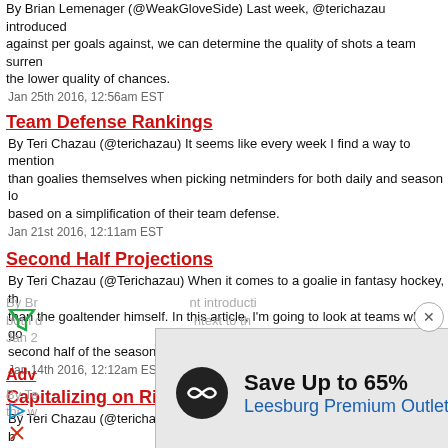By Brian Lemenager (@WeakGloveSide) Last week, @terichazau introduced against per goals against, we can determine the quality of shots a team surre the lower quality of chances.
Jan 25th 2016, 12:56am EST
Team Defense Rankings
By Teri Chazau (@terichazau) It seems like every week I find a way to mention than goalies themselves when picking netminders for both daily and season lo based on a simplification of their team defense.
Jan 21st 2016, 12:11am EST
Second Half Projections
By Teri Chazau (@Terichazau) When it comes to a goalie in fantasy hockey, th than the goaltender himself. In this article, I'm going to look at teams whose go second half of the season, as well as those you should expect to regress.
Jan 14th 2016, 12:12am EST
Capitalizing on Rink Stat Biases
By Teri Chazau (@terichazau) In any kind of fantasy matchup, the difference b shot or a single block. With such a small margin for error, it is critical that you t on any given night.
Jan 7th 2016, 1:09am EST
Advanced Stats NHL Context
By Br... nt introduci both d... ntext to th Jan... Adv... By Te... sion number the w... les of s...
[Figure (other): Advertisement overlay: Save Up to 65% Leesburg Premium Outlets, with circular logo and navigation icon. Close button (X) in circle top right. Filter icon (funnel) top left.]